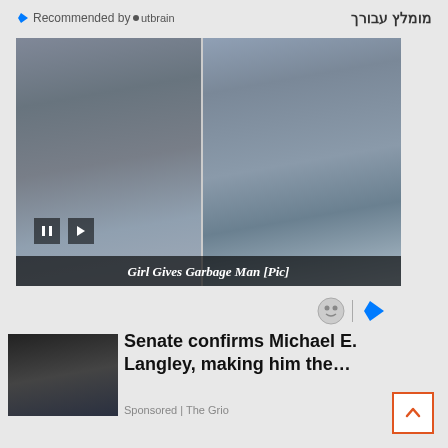Recommended by Outbrain
מומלץ עבורך
[Figure (photo): Two-panel photo: left panel shows a large man in black hat and sunglasses crouching and looking at a small girl with pink bow; right panel shows the same man smiling and holding the little girl near a truck.]
Girl Gives Garbage Man [Pic]
[Figure (logo): Outbrain sponsored content icons]
[Figure (photo): Thumbnail photo of Michael E. Langley in military uniform]
Senate confirms Michael E. Langley, making him the…
Sponsored | The Grio